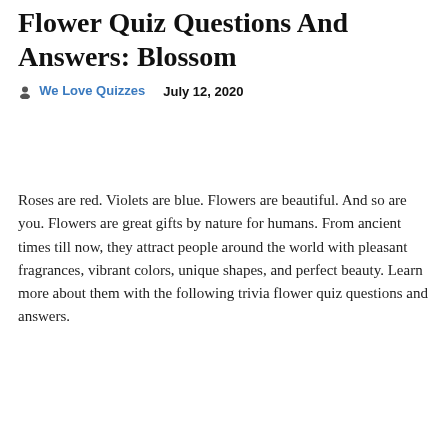Flower Quiz Questions And Answers: Blossom
We Love Quizzes   July 12, 2020
Roses are red. Violets are blue. Flowers are beautiful. And so are you. Flowers are great gifts by nature for humans. From ancient times till now, they attract people around the world with pleasant fragrances, vibrant colors, unique shapes, and perfect beauty. Learn more about them with the following trivia flower quiz questions and answers.